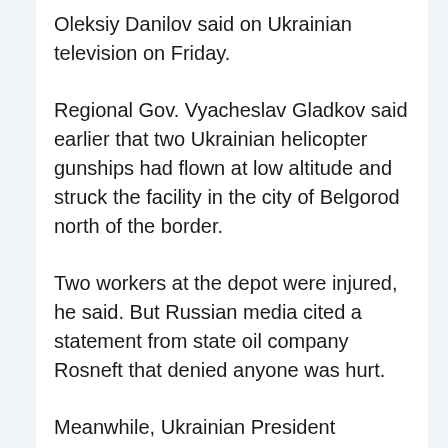Oleksiy Danilov said on Ukrainian television on Friday.
Regional Gov. Vyacheslav Gladkov said earlier that two Ukrainian helicopter gunships had flown at low altitude and struck the facility in the city of Belgorod north of the border.
Two workers at the depot were injured, he said. But Russian media cited a statement from state oil company Rosneft that denied anyone was hurt.
Meanwhile, Ukrainian President Volodymr Zelenskyy's office said 86 Ukrainian service members were freed in the Zaporizhzhia region as part of a prisoner swap with Russia. The number of Russians released was not